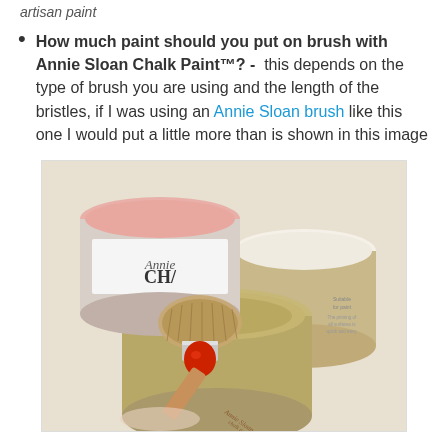artisan paint
How much paint should you put on brush with Annie Sloan Chalk Paint™? - this depends on the type of brush you are using and the length of the bristles, if I was using an Annie Sloan brush like this one I would put a little more than is shown in this image
[Figure (photo): Photo of Annie Sloan Chalk Paint cans (pink and cream colored paint) with an Annie Sloan brush resting on an open paint can lid. The brush has a red ferrule and wooden handle with Annie Sloan branding.]